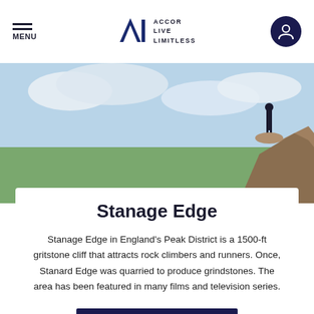MENU | ALL ACCOR LIVE LIMITLESS
[Figure (photo): Person standing on a rocky outcrop (Stanage Edge) against a sky with clouds, landscape view in the background]
Stanage Edge
Stanage Edge in England's Peak District is a 1500-ft gritstone cliff that attracts rock climbers and runners. Once, Stanard Edge was quarried to produce grindstones. The area has been featured in many films and television series.
BOOK NOW